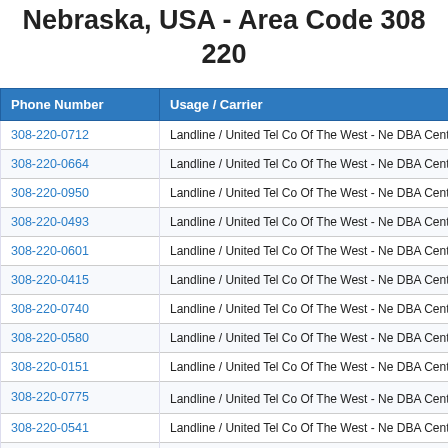Nebraska, USA - Area Code 308 220
| Phone Number | Usage / Carrier | P |
| --- | --- | --- |
| 308-220-0712 | Landline / United Tel Co Of The West - Ne DBA Centurylink-ne |  |
| 308-220-0664 | Landline / United Tel Co Of The West - Ne DBA Centurylink-ne |  |
| 308-220-0950 | Landline / United Tel Co Of The West - Ne DBA Centurylink-ne |  |
| 308-220-0493 | Landline / United Tel Co Of The West - Ne DBA Centurylink-ne |  |
| 308-220-0601 | Landline / United Tel Co Of The West - Ne DBA Centurylink-ne |  |
| 308-220-0415 | Landline / United Tel Co Of The West - Ne DBA Centurylink-ne |  |
| 308-220-0740 | Landline / United Tel Co Of The West - Ne DBA Centurylink-ne |  |
| 308-220-0580 | Landline / United Tel Co Of The West - Ne DBA Centurylink-ne |  |
| 308-220-0151 | Landline / United Tel Co Of The West - Ne DBA Centurylink-ne |  |
| 308-220-0775 | Landline / United Tel Co Of The West - Ne DBA Centu... |  |
| 308-220-0541 | Landline / United Tel Co Of The West - Ne DBA Centurylink-ne |  |
| 308-220-0470 | Landline / United Tel Co Of The West - Ne DBA Centurylink-ne |  |
| 308-220-0940 | Landline / United Tel Co Of The West - Ne DBA Centurylink-ne |  |